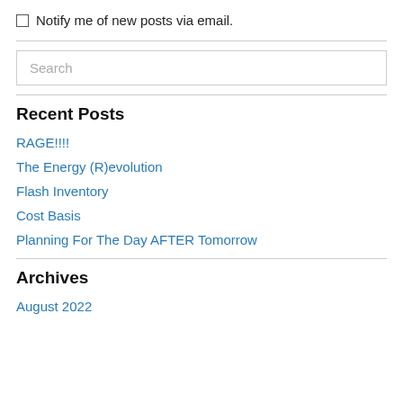Notify me of new posts via email.
Recent Posts
RAGE!!!!
The Energy (R)evolution
Flash Inventory
Cost Basis
Planning For The Day AFTER Tomorrow
Archives
August 2022